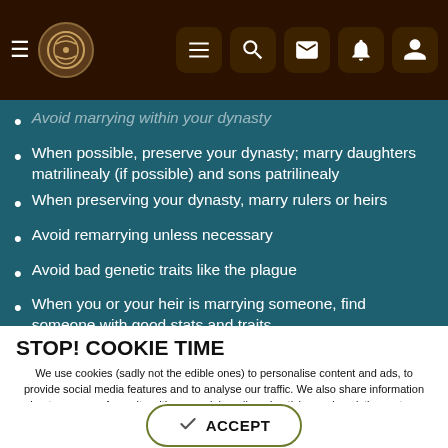Navigation header with hamburger menu, logo, and icons
Avoid marrying within your dynasty
When possible, preserve your dynasty; marry daughters matrilinealy (if possible) and sons patrilinealy
When preserving your dynasty, marry rulers or heirs
Avoid remarrying unless necessary
Avoid bad genetic traits like the plague
When you or your heir is marrying someone, find someone with good stats and traits
The Genius and Quick traits are extremely useful
If you want children, don't marry anyone above 30 or
STOP! COOKIE TIME
We use cookies (sadly not the edible ones) to personalise content and ads, to provide social media features and to analyse our traffic. We also share information about your use of our site with our social media, advertising and analytics partners who may combine it with other information that you've provided to them or that they've collected from your use of their services. You consent to our cookies if you continue to use this website.
✓ ACCEPT